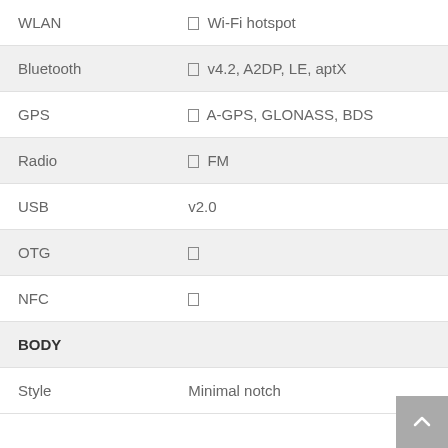| Feature | Value |
| --- | --- |
| WLAN | ☐ Wi-Fi hotspot |
| Bluetooth | ☐ v4.2, A2DP, LE, aptX |
| GPS | ☐ A-GPS, GLONASS, BDS |
| Radio | ☐ FM |
| USB | v2.0 |
| OTG | ☐ |
| NFC | ☐ |
| BODY |  |
| Style | Minimal notch |